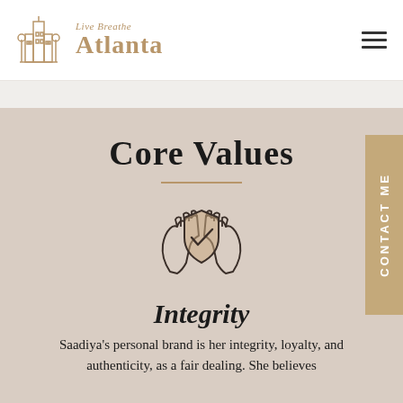Live Breathe Atlanta — navigation logo and hamburger menu
Core Values
[Figure (illustration): Two hands cupping a shield with a checkmark inside, drawn in outline style with beige/tan fill on the shield, representing integrity and values.]
Integrity
Saadiya's personal brand is her integrity, loyalty, and authenticity, as a fair dealing. She believes...